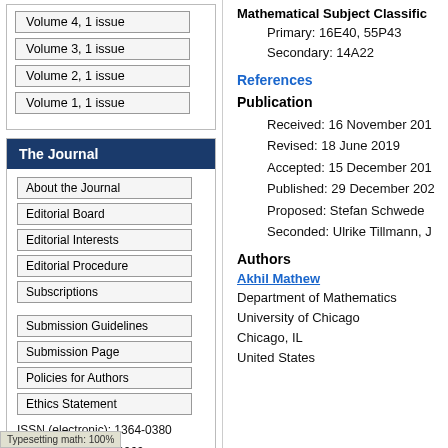Volume 4, 1 issue
Volume 3, 1 issue
Volume 2, 1 issue
Volume 1, 1 issue
The Journal
About the Journal
Editorial Board
Editorial Interests
Editorial Procedure
Subscriptions
Submission Guidelines
Submission Page
Policies for Authors
Ethics Statement
ISSN (electronic): 1364-0380
ISSN (print): 1465-3060
Typesetting math: 100%
Mathematical Subject Classification
Primary: 16E40, 55P43
Secondary: 14A22
References
Publication
Received: 16 November 201
Revised: 18 June 2019
Accepted: 15 December 201
Published: 29 December 202
Proposed: Stefan Schwede
Seconded: Ulrike Tillmann, J
Authors
Akhil Mathew
Department of Mathematics
University of Chicago
Chicago, IL
United States